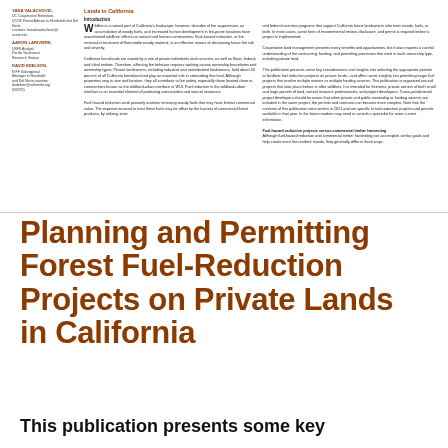Lands in California
Introduction
Wildfire is a natural part of California's landscape; however, decades of fire suppression, an accumulation of woody fuels, and increased human development in fire-prone locations have exacerbated wildfires' effects on natural and human communities. Fuel-hazard reduction, or the removal or treatment of flammable woody material, is an effective means of decreasing future fire risk and severity. California forestlands are owned by a mix of private individuals and concerns, as well as State, federal, and tribal entities. Therefore, affecting fire behavior requires working across ownership boundaries and ownership types. Private landowners, including industrial and nonindustrial landowners, hold about 40 percent of all California forestland and play an essential role in stewarding that land. Although properties vary in size and location, they all contribute to fire safety, especially those located close to communities known as the wildland-urban interface or WUI. Fuel reduction in the wildland-urban interface is an essential element of protecting communities and natural resources.
Fuel hazard reduction work primarily involves removing woody fuels that may have limited commercial value. The expense incurred to treat these fuels may be offset by the harvest of commercial forest products, by utilizing state and federal incentive programs that support California forest landowners who treat stands, fuels, or both. In most cases, some form of environmental review, disclosure, and permit is required before a project is implemented. Cooperative land management presents many benefits and opportunities, but it also requires a careful understanding of the contracting, funding, and permitting processes that exist in each ownership type, including private land. This publication presents some key considerations and insights into selecting the appropriate permits to facilitate fuel reduction projects on private lands—and offers some insights into permitting larger fuel projects that involve multiple owners or multiple funding sources. This publication is organized around projects that take place before or after wildfires. It is intended for foresters, private owners of both small and large parcels of land, natural resource professionals, and project developers. Cross-jurisdictional project developers should be aware that when private and public ownership or funding sources are included in the same project, the permits and contracts can become more complex. Note that the contents of this publication were written in 2021 and are specific to fuel-reduction projects and permits available in that year. In the future readers may need to consult a specialist for more current information.
Fuel-hazard reduction projects versus commercial timber harvesting
Although fuel-hazard reduction and commercial timber harvesting can accomplish similar goals and help create more fire-resilient stands, they generally differ in three ways.
Planning and Permitting Forest Fuel-Reduction Projects on Private Lands in California
This publication presents some key